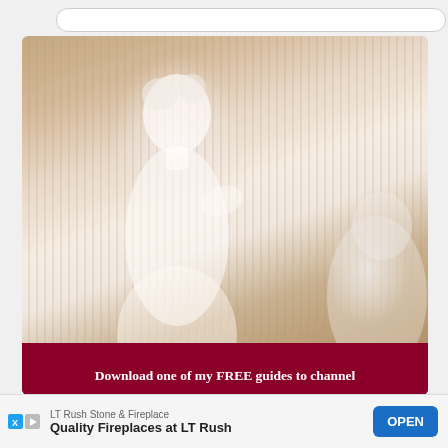[Figure (photo): A faded/light photograph of a classical marble sculpture of a draped female figure against a background with vertical column striates, with a dark red banner at the bottom reading 'Download one of my FREE guides to channel']
Download one of my FREE guides to channel
[Figure (infographic): Advertisement banner for LT Rush Stone & Fireplace reading 'Quality Fireplaces at LT Rush' with an OPEN button and X/ad badges]